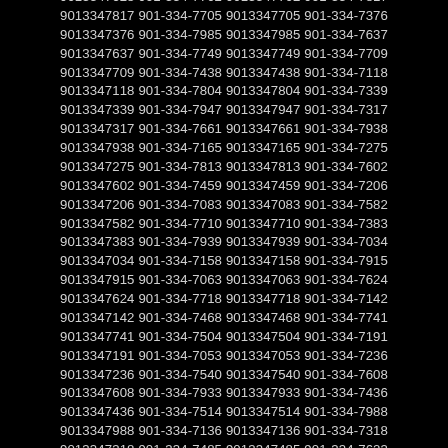9013347628 901-334-7702 9013347702 901-334-7817 9013347817 901-334-7705 9013347705 901-334-7376 9013347376 901-334-7985 9013347985 901-334-7637 9013347637 901-334-7749 9013347749 901-334-7709 9013347709 901-334-7438 9013347438 901-334-7118 9013347118 901-334-7804 9013347804 901-334-7339 9013347339 901-334-7947 9013347947 901-334-7317 9013347317 901-334-7661 9013347661 901-334-7938 9013347938 901-334-7165 9013347165 901-334-7275 9013347275 901-334-7813 9013347813 901-334-7602 9013347602 901-334-7459 9013347459 901-334-7206 9013347206 901-334-7083 9013347083 901-334-7582 9013347582 901-334-7710 9013347710 901-334-7383 9013347383 901-334-7939 9013347939 901-334-7034 9013347034 901-334-7158 9013347158 901-334-7915 9013347915 901-334-7063 9013347063 901-334-7624 9013347624 901-334-7718 9013347718 901-334-7142 9013347142 901-334-7468 9013347468 901-334-7741 9013347741 901-334-7504 9013347504 901-334-7191 9013347191 901-334-7053 9013347053 901-334-7236 9013347236 901-334-7540 9013347540 901-334-7608 9013347608 901-334-7933 9013347933 901-334-7436 9013347436 901-334-7514 9013347514 901-334-7988 9013347988 901-334-7136 9013347136 901-334-7318 9013347318 901-334-7485 9013347485 901-334-7623